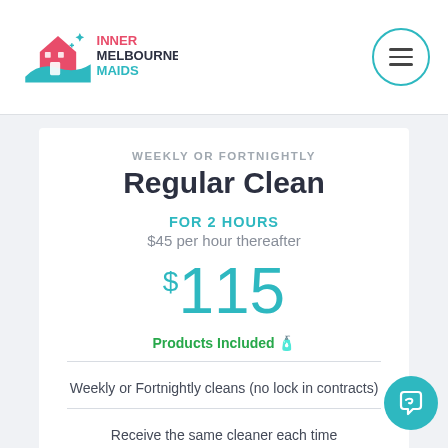[Figure (logo): Inner Melbourne Maids logo with house icon and teal/pink coloring]
WEEKLY OR FORTNIGHTLY
Regular Clean
FOR 2 HOURS
$45 per hour thereafter
$115
Products Included 🧴
Weekly or Fortnightly cleans (no lock in contracts)
Receive the same cleaner each time ✓
Never worry about cleaning again